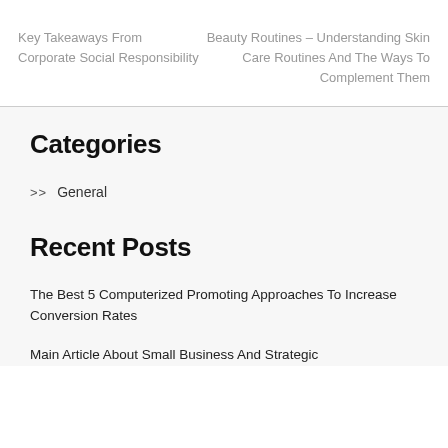Key Takeaways From Corporate Social Responsibility
Beauty Routines – Understanding Skin Care Routines And The Ways To Complement Them
Categories
>> General
Recent Posts
The Best 5 Computerized Promoting Approaches To Increase Conversion Rates
Main Article About Small Business And Strategic